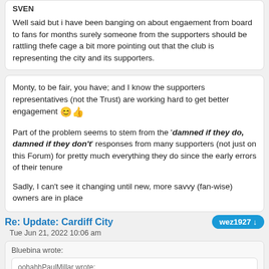SVEN

Well said but i have been banging on about engaement from board to fans for months surely someone from the supporters should be rattling thefe cage a bit more pointing out that the club is representing the city and its supporters.
Monty, to be fair, you have; and I know the supporters representatives (not the Trust) are working hard to get better engagement 😊👍
Part of the problem seems to stem from the 'damned if they do, damned if they don't' responses from many supporters (not just on this Forum) for pretty much everything they do since the early errors of their tenure
Sadly, I can't see it changing until new, more savvy (fan-wise) owners are in place
Re: Update: Cardiff City
Tue Jun 21, 2022 10:06 am
Bluebina wrote:

oohahhPaulMillar wrote:
That's not bad in fairness but still lagging way behind some of our rivals

Hopefully finish up somewhere near 15,000 maybe more with a couple of decent signings